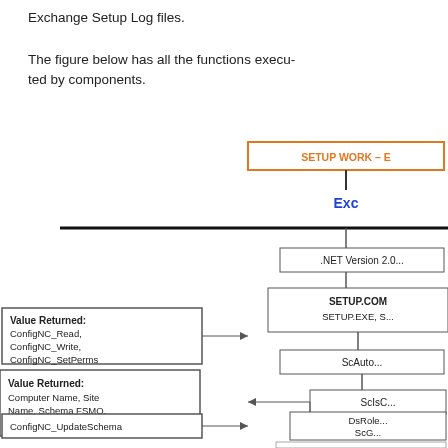Exchange Setup Log files.
The figure below has all the functions executed by components.
[Figure (flowchart): Partial flowchart showing Exchange Setup components hierarchy. Top node: 'SETUP WORK - E...' (orange bordered). Below it: 'Exc...' (blue text). Then a wide horizontal line branching left and right. Right branch leads to '.NET Version 2.0...' box, then 'SETUP.COM / SETUP.EXE, S...' box, then 'ScAuto...' box, then 'ScIsC...' box. Left branch shows 'Value Returned: Computer Name, Site Name, Schema FSMO, Domain Name, NCs etc.' box with arrow. Below that: 'Value Returned: ConfigNC_Read, ConfigNC_Write, ConfigNC_SetPerms' box with arrow. Then 'ConfigNC_UpdateSchema' box with arrow. Right side also shows 'DsRole... ScG...' and 'Sc... /dc=com/dc=dom... /dc=com/dc=dom... /c...' text boxes.]